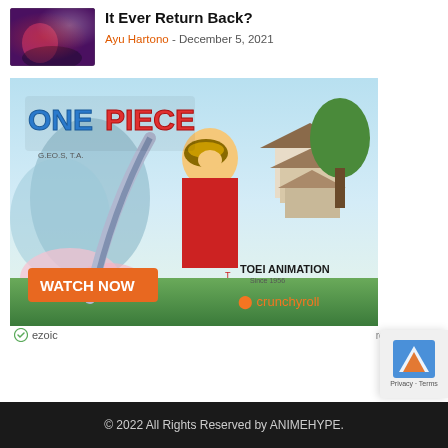[Figure (photo): Article thumbnail showing anime scene with dark purple/red tones]
It Ever Return Back?
Ayu Hartono - December 5, 2021
[Figure (photo): One Piece anime advertisement banner featuring Luffy in samurai outfit with 'WATCH NOW' button, Toei Animation and Crunchyroll logos]
ezoic   report this ad
© 2022 All Rights Reserved by ANIMEHYPE.